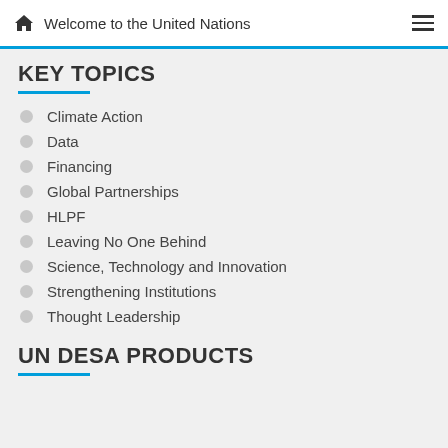Welcome to the United Nations
KEY TOPICS
Climate Action
Data
Financing
Global Partnerships
HLPF
Leaving No One Behind
Science, Technology and Innovation
Strengthening Institutions
Thought Leadership
UN DESA PRODUCTS